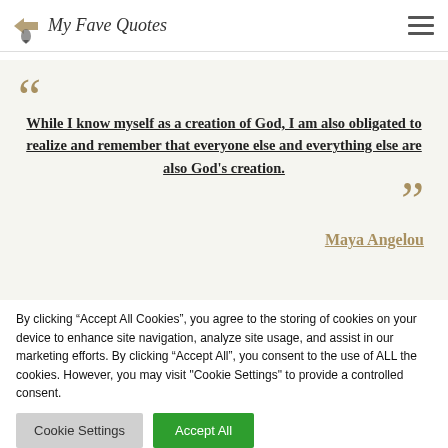My Fave Quotes
While I know myself as a creation of God, I am also obligated to realize and remember that everyone else and everything else are also God's creation.
Maya Angelou
By clicking “Accept All Cookies”, you agree to the storing of cookies on your device to enhance site navigation, analyze site usage, and assist in our marketing efforts. By clicking “Accept All”, you consent to the use of ALL the cookies. However, you may visit "Cookie Settings" to provide a controlled consent.